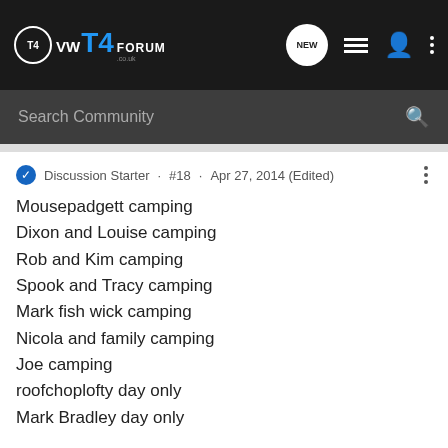VW T4 FORUM · NEW · Search Community
Discussion Starter · #18 · Apr 27, 2014 (Edited)
Mousepadgett camping
Dixon and Louise camping
Rob and Kim camping
Spook and Tracy camping
Mark fish wick camping
Nicola and family camping
Joe camping
roofchoplofty day only
Mark Bradley day only
We have 12 others have said they are going on the Facebook page should be a good turn out